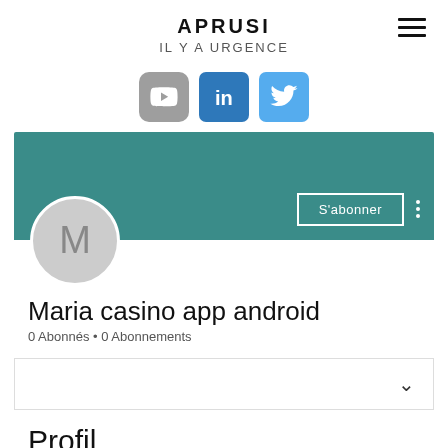APRUSI
IL Y A URGENCE
[Figure (logo): Social media icons row: YouTube (grey), LinkedIn (blue), Twitter (light blue)]
[Figure (screenshot): LinkedIn profile banner with teal background, circular avatar placeholder with letter M, S'abonner (subscribe) button, and three-dot menu]
Maria casino app android
0 Abonnés • 0 Abonnements
[Figure (screenshot): Dropdown/collapsed section box with chevron down arrow on the right]
Profil